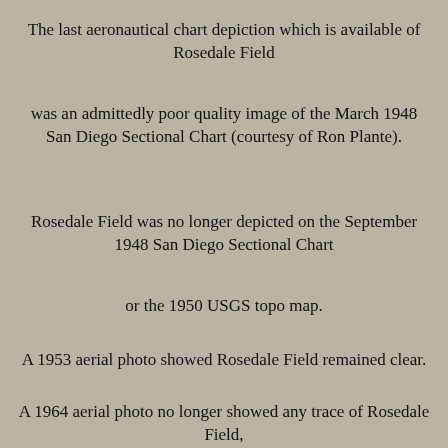The last aeronautical chart depiction which is available of Rosedale Field
was an admittedly poor quality image of the March 1948 San Diego Sectional Chart (courtesy of Ron Plante).
Rosedale Field was no longer depicted on the September 1948 San Diego Sectional Chart
or the 1950 USGS topo map.
A 1953 aerial photo showed Rosedale Field remained clear.
A 1964 aerial photo no longer showed any trace of Rosedale Field,